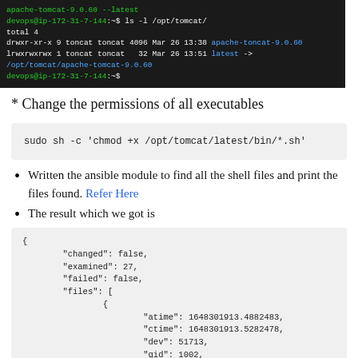[Figure (screenshot): Terminal screenshot showing ls -l /opt/tomcat/ command output with apache-tomcat-9.0.60 directory and latest symlink]
* Change the permissions of all executables
sudo sh -c 'chmod +x /opt/tomcat/latest/bin/*.sh'
Written the ansible module to find all the shell files and print the files found. Refer Here
The result which we got is
{
    "changed": false,
    "examined": 27,
    "failed": false,
    "files": [
        {
            "atime": 1648301913.4882483,
            "ctime": 1648301913.5282478,
            "dev": 51713,
            "gid": 1002,